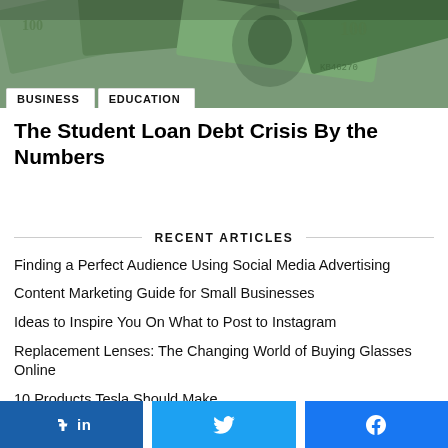[Figure (photo): Hero image of US dollar bills (hundred dollar bills fanned out), with category tags BUSINESS and EDUCATION overlaid at the bottom left.]
The Student Loan Debt Crisis By the Numbers
RECENT ARTICLES
Finding a Perfect Audience Using Social Media Advertising
Content Marketing Guide for Small Businesses
Ideas to Inspire You On What to Post to Instagram
Replacement Lenses: The Changing World of Buying Glasses Online
10 Products Tesla Should Make